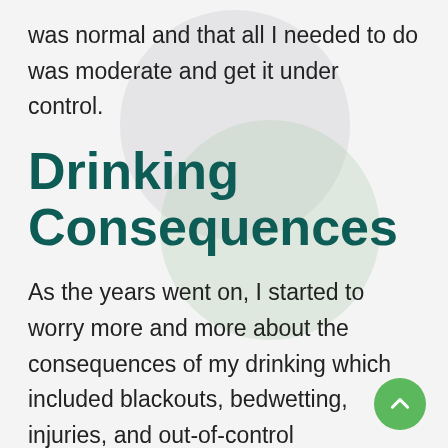was normal and that all I needed to do was moderate and get it under control.
Drinking Consequences
As the years went on, I started to worry more and more about the consequences of my drinking which included blackouts, bedwetting, injuries, and out-of-control conversations and arguments with people that I didn't remember and would